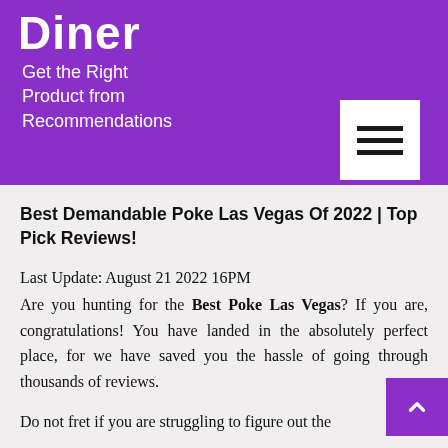Diner
Get the Right Product from Recommendations
Best Demandable Poke Las Vegas Of 2022 | Top Pick Reviews!
Last Update: August 21 2022 16PM
Are you hunting for the Best Poke Las Vegas? If you are, congratulations! You have landed in the absolutely perfect place, for we have saved you the hassle of going through thousands of reviews.
Do not fret if you are struggling to figure out the